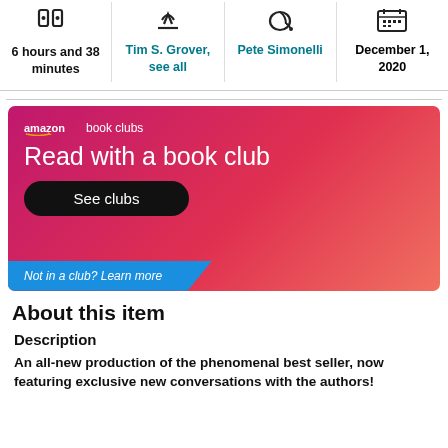| Duration | Author | Narrator | Date |
| --- | --- | --- | --- |
| 6 hours and 38 minutes | Tim S. Grover, see all | Pete Simonelli | December 1, 2020 |
[Figure (infographic): Amazon Book Clubs banner with gradient pink-red background, heading 'Read with a book club', a 'See clubs' black button, and a blue ribbon banner reading 'Not in a club? Learn more']
About this item
Description
An all-new production of the phenomenal best seller, now featuring exclusive new conversations with the authors!